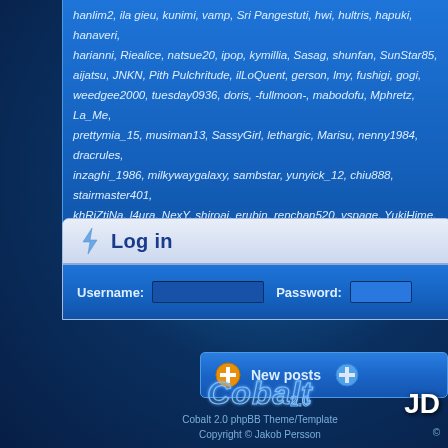hanlim2, ila gieu, kunimi, vamp, Sri Pangestuti, hwi, hultris, hapuki, hanaveri, harianni, Riealice, natsue20, ipop, kymillia, Sasag, shunfan, SunStar85, aijatsu, JNKN, Pith Pulchritude, ilLoQuent, gerson, lmy, fushigi, gogi, weedgee2000, tuesday0936, doris, -fullmoon-, mabodofu, Mphretz, La_Me, prettymia_15, musiman13, SassyGirl, lethargic, Marisu, nenny1984, dracrules, inzaghi_1986, milkywaygalaxy, sambstar, yunyick_12, chiu888, stairmaster401, khRiZtiNa, l4ura, NexY, shiroai, erubin, renchan520, yspage, YukiHime, spydy, akisan, laura_a3a, tangp-c, pepppy, blessedchildxd
Log in
Username: [input] Password: [input]
New posts
[Figure (logo): Cobalt 2.0 phpBB Theme/Template logo with stylized text]
Cobalt 2.0 phpBB Theme/Template
Copyright © Jakob Persson
JD